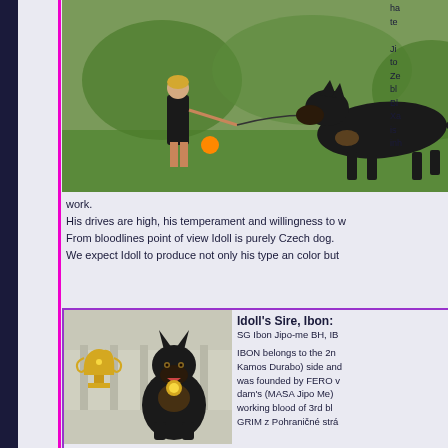[Figure (photo): A toddler in a black shirt walking with a large black German Shepherd dog on a leash outdoors on grass]
His drives are high, his temperament and willingness to w
From bloodlines point of view Idoll is purely Czech dog.
We expect Idoll to produce not only his type an color but
[Figure (photo): A black German Shepherd dog sitting next to a large gold trophy, wearing a medal]
Idoll's Sire, Ibon: SG Ibon Jipo-me BH, IB

IBON belongs to the 2n
Kamos Durabo) side and
was founded by FERO v
dam's (MASA Jipo Me)
working blood of 3rd bl
GRIM z Pohraničné strá